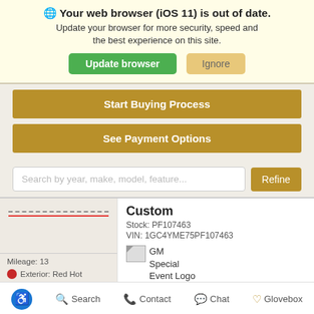🌐 Your web browser (iOS 11) is out of date. Update your browser for more security, speed and the best experience on this site. [Update browser] [Ignore]
Start Buying Process
See Payment Options
Search by year, make, model, feature... [Refine]
Custom
Stock: PF107463
VIN: 1GC4YME75PF107463
[GM Special Event Logo]
Mileage: 13
Exterior: Red Hot
♿ Search  Contact  Chat  Glovebox